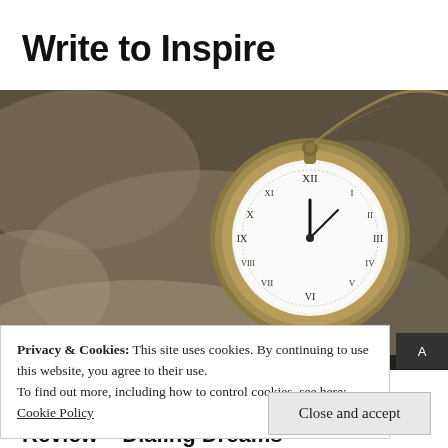Write to Inspire
[Figure (photo): A vintage brass pocket watch with Roman numeral face resting on sandy/gravelly ground, with a chain visible. Close-up macro photograph with shallow depth of field.]
Privacy & Cookies: This site uses cookies. By continuing to use this website, you agree to their use.
To find out more, including how to control cookies, see here: Cookie Policy
Close and accept
Review – Dialing Dreams